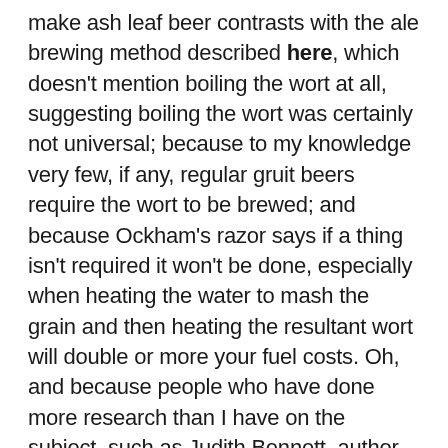make ash leaf beer contrasts with the ale brewing method described here, which doesn't mention boiling the wort at all, suggesting boiling the wort was certainly not universal; because to my knowledge very few, if any, regular gruit beers require the wort to be brewed; and because Ockham's razor says if a thing isn't required it won't be done, especially when heating the water to mash the grain and then heating the resultant wort will double or more your fuel costs. Oh, and because people who have done more research than I have on the subject, such as Judith Bennett, author of the excellent Ale, Beer and Brewsters in England, also conclude that the other big differencve between medieval ale and medieval beer, besides hops, was boiling/not boiling the wort. I have suspected for quite a long time now, incidentally, that much pre-hop English ale wasn't flavoured with anything –